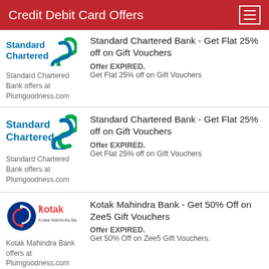Credit Debit Card Offers
[Figure (logo): Standard Chartered Bank logo - blue text with green S symbol]
Standard Chartered Bank offers at Plumgoodness.com
Standard Chartered Bank - Get Flat 25% off on Gift Vouchers
Offer EXPIRED. Get Flat 25% off on Gift Vouchers
[Figure (logo): Standard Chartered Bank logo - blue text with green S symbol]
Standard Chartered Bank offers at Plumgoodness.com
Standard Chartered Bank - Get Flat 25% off on Gift Vouchers
Offer EXPIRED. Get Flat 25% off on Gift Vouchers
[Figure (logo): Kotak Mahindra Bank logo - circular logo with kotak text]
Kotak Mahindra Bank offers at Plumgoodness.com
Kotak Mahindra Bank - Get 50% Off on Zee5 Gift Vouchers
Offer EXPIRED. Get 50% Off on Zee5 Gift Vouchers.